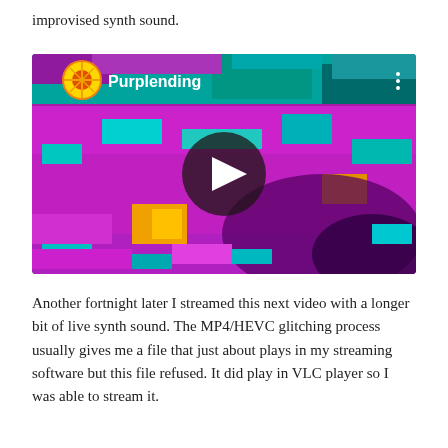improvised synth sound.
[Figure (screenshot): YouTube video thumbnail showing a glitched, colorful abstract image with magenta, teal, and cyan pixel-art distortion patterns. The video player shows a channel icon (circular, colorful), the channel name 'Purplending', and a play button in the center.]
Another fortnight later I streamed this next video with a longer bit of live synth sound. The MP4/HEVC glitching process usually gives me a file that just about plays in my streaming software but this file refused. It did play in VLC player so I was able to stream it.